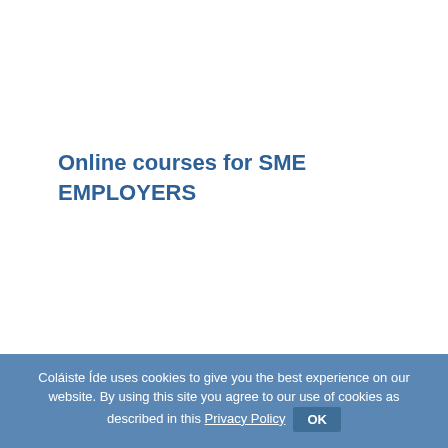Online courses for SME EMPLOYERS
Coláiste Íde uses cookies to give you the best experience on our website. By using this site you agree to our use of cookies as described in this Privacy Policy  OK